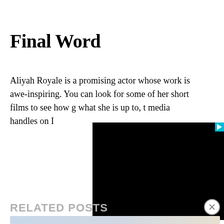Final Word
Aliyah Royale is a promising actor whose work is awe-inspiring. You can look for some of her short films to see how g[reat she is. If you want to know] what she is up to, t[hink about following her social] media handles on [Instagram and Twitter].
[Figure (screenshot): Black video player overlay with cyan play button in top-right corner]
[Figure (screenshot): Blue Facebook Share button and partial red button]
RELATED POSTS
[Figure (photo): Partial image visible at bottom of page]